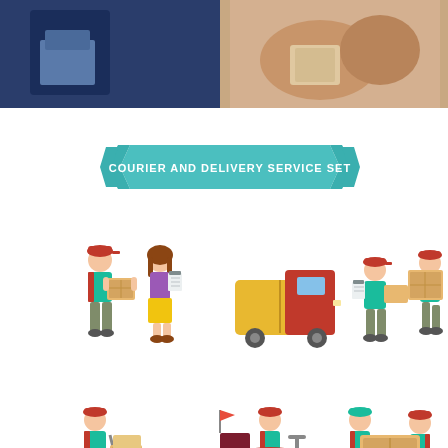[Figure (photo): Photo showing a delivery person handing a package to a recipient, partially cropped at top of page]
[Figure (illustration): Flat design illustration set titled 'COURIER AND DELIVERY SERVICE SET' with teal ribbon banner. Shows multiple courier characters: delivery man with box and woman with clipboard; delivery man with clipboard and box next to delivery van; delivery man carrying large box; delivery man with hand truck and boxes; delivery man on scooter with delivery box; two delivery men carrying large box together. Characters wear teal shirts, dark pants, and red caps.]
[Figure (photo): Photo of a delivery person wearing a light blue cap handing something to a recipient near a brick wall, partially cropped at bottom of page]